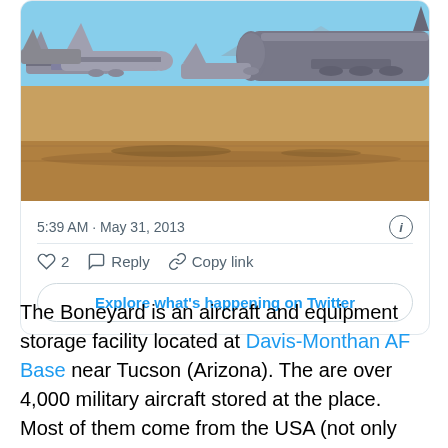[Figure (photo): Photo of an aircraft boneyard/storage facility showing multiple large military aircraft parked on arid desert ground with mountains in background. Taken at Davis-Monthan Air Force Base near Tucson, Arizona.]
5:39 AM · May 31, 2013
2  Reply  Copy link
Explore what's happening on Twitter
The Boneyard is an aircraft and equipment storage facility located at Davis-Monthan AF Base near Tucson (Arizona). The are over 4,000 military aircraft stored at the place. Most of them come from the USA (not only from the air force but from the navy since as well) but the